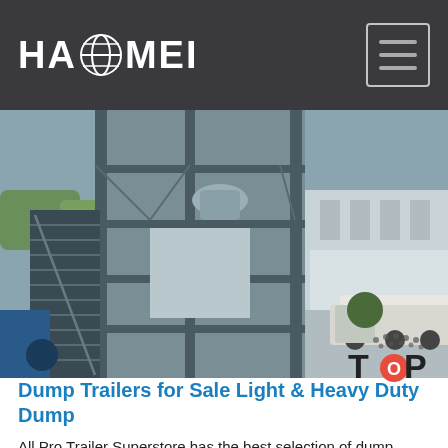[Figure (logo): HAOMEI company logo in white bold text with a globe icon, on dark background header bar with hamburger menu icon on the right]
[Figure (photo): Industrial facility photograph showing a multi-story steel structure with staircases, platforms, and machinery. Heavy equipment and trucks visible in background. Outdoor industrial setting.]
Dump Trailers for Sale Light & Heavy Duty Dump
All Pro Trailer Superstore has the best selection of dump trailers for sale and we can use our expertise to help you find the dump